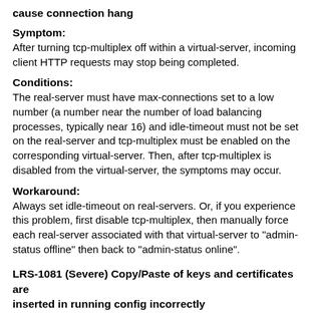cause connection hang
Symptom:
After turning tcp-multiplex off within a virtual-server, incoming client HTTP requests may stop being completed.
Conditions:
The real-server must have max-connections set to a low number (a number near the number of load balancing processes, typically near 16) and idle-timeout must not be set on the real-server and tcp-multiplex must be enabled on the corresponding virtual-server. Then, after tcp-multiplex is disabled from the virtual-server, the symptoms may occur.
Workaround:
Always set idle-timeout on real-servers. Or, if you experience this problem, first disable tcp-multiplex, then manually force each real-server associated with that virtual-server to "admin-status offline" then back to "admin-status online".
LRS-1081 (Severe) Copy/Paste of keys and certificates are inserted in running config incorrectly